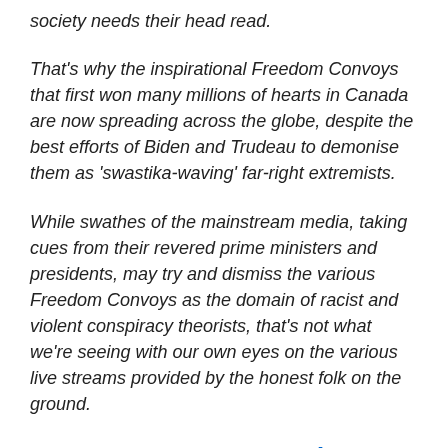society needs their head read.
That's why the inspirational Freedom Convoys that first won many millions of hearts in Canada are now spreading across the globe, despite the best efforts of Biden and Trudeau to demonise them as 'swastika-waving' far-right extremists.
While swathes of the mainstream media, taking cues from their revered prime ministers and presidents, may try and dismiss the various Freedom Convoys as the domain of racist and violent conspiracy theorists, that's not what we're seeing with our own eyes on the various live streams provided by the honest folk on the ground.
DAN WOOTTON: Canada shows how the
rest of Covid has stolen democracy